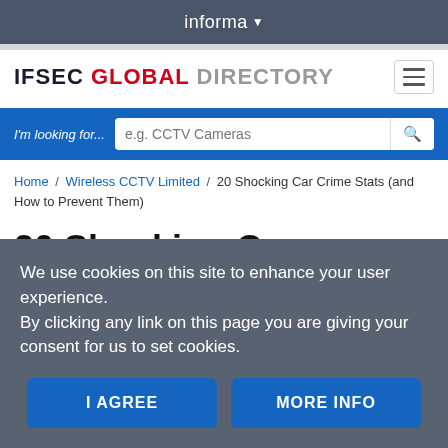informa ▾
IFSEC GLOBAL DIRECTORY
I'm looking for... e.g. CCTV Cameras
Home / Wireless CCTV Limited / 20 Shocking Car Crime Stats (and How to Prevent Them)
20 Shocking Car
We use cookies on this site to enhance your user experience.
By clicking any link on this page you are giving your consent for us to set cookies.
I AGREE    MORE INFO